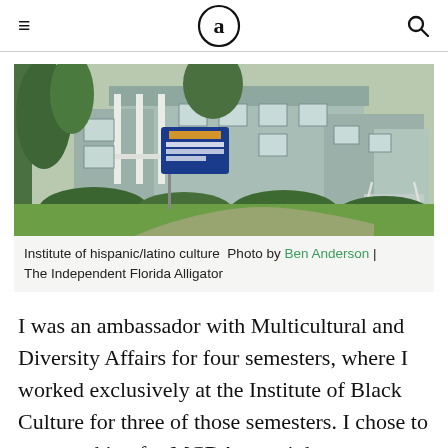≡  [a]  🔍
[Figure (photo): Exterior photo of the UF Institute of Hispanic/Latino Cultures building, a light blue Victorian-style house with porch, columns, white railings, green shrubs, and a blue sign reading 'UF Florida Institute of Hispanic/Latino Cultures'. Winding pathway visible in foreground.]
Institute of hispanic/latino culture  Photo by Ben Anderson | The Independent Florida Alligator
I was an ambassador with Multicultural and Diversity Affairs for four semesters, where I worked exclusively at the Institute of Black Culture for three of those semesters. I chose to stop working for MCDA once it became apparent that many of the department's